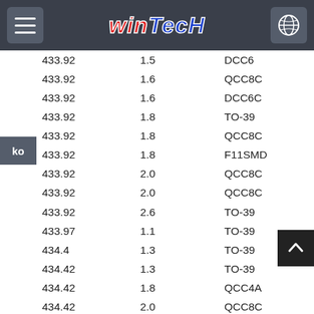WinTech header with menu and globe buttons
| Frequency | Value | Package |
| --- | --- | --- |
| 433.92 | 1.5 | DCC6 |
| 433.92 | 1.6 | QCC8C |
| 433.92 | 1.6 | DCC6C |
| 433.92 | 1.8 | TO-39 |
| 433.92 | 1.8 | QCC8C |
| 433.92 | 1.8 | F11SMD |
| 433.92 | 2.0 | QCC8C |
| 433.92 | 2.0 | QCC8C |
| 433.92 | 2.6 | TO-39 |
| 433.97 | 1.1 | TO-39 |
| 434.4 | 1.3 | TO-39 |
| 434.42 | 1.3 | TO-39 |
| 434.42 | 1.8 | QCC4A |
| 434.42 | 2.0 | QCC8C |
| 435 | 1.2 | TO-39 |
| 435.72 | 1.3 | QCC4A |
| 435.72 | 2.8 | QCC8C |
| 435.8 | 1.3 | TO-39 |
| 440.8 | 2.5 | TO-39 |
| 441.2 | 2.7 | TO-39 |
| 441.2 | 2.8 | F-11 |
| 447.699 | 1.0 | QCC8C |